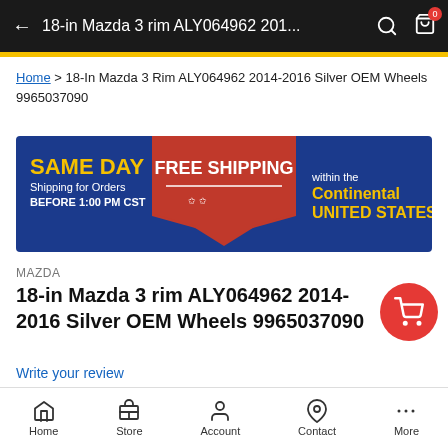18-in Mazda 3 rim ALY064962 201...
Home > 18-In Mazda 3 Rim ALY064962 2014-2016 Silver OEM Wheels 9965037090
[Figure (infographic): Promotional banner: SAME DAY Shipping for Orders BEFORE 1:00 PM CST | FREE SHIPPING | within the Continental UNITED STATES]
MAZDA
18-in Mazda 3 rim ALY064962 2014-2016 Silver OEM Wheels 9965037090
Write your review
$233.00  $420.00
Home  Store  Account  Contact  More